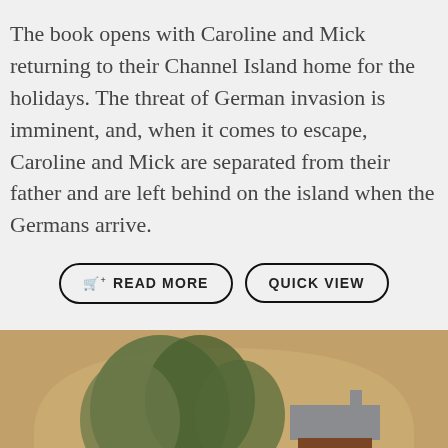The book opens with Caroline and Mick returning to their Channel Island home for the holidays. The threat of German invasion is imminent, and, when it comes to escape, Caroline and Mick are separated from their father and are left behind on the island when the Germans arrive.
READ MORE | QUICK VIEW
[Figure (illustration): Bottom portion of a book cover showing an arched illustration with trees, a house with a grey roof, and partial serif text reading 'FOUR' at the bottom edge, set against a warm tan/sandy background.]